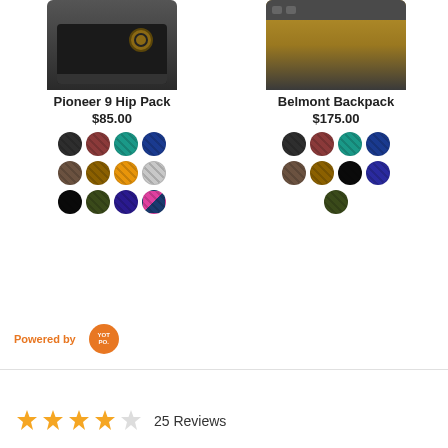[Figure (photo): Pioneer 9 Hip Pack product image - black hip pack bag]
[Figure (photo): Belmont Backpack product image - tan and black backpack]
Pioneer 9 Hip Pack
$85.00
Belmont Backpack
$175.00
Powered by YOTPO
25 Reviews